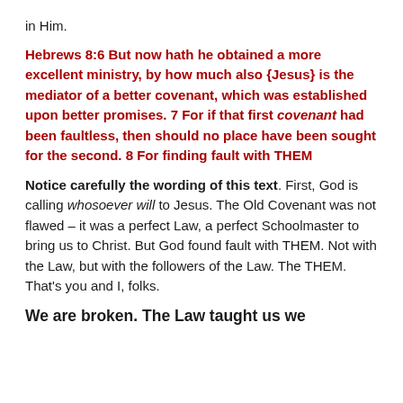in Him.
Hebrews 8:6 But now hath he obtained a more excellent ministry, by how much also {Jesus} is the mediator of a better covenant, which was established upon better promises. 7 For if that first covenant had been faultless, then should no place have been sought for the second. 8 For finding fault with THEM
Notice carefully the wording of this text. First, God is calling whosoever will to Jesus. The Old Covenant was not flawed – it was a perfect Law, a perfect Schoolmaster to bring us to Christ. But God found fault with THEM. Not with the Law, but with the followers of the Law. The THEM. That's you and I, folks.
We are broken. The Law taught us we